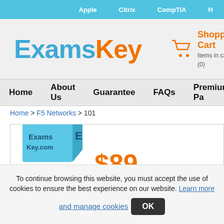Apple   Citrix   CompTIA   H
[Figure (logo): ExamsKey logo with blue 'Exams' and orange 'Key' text]
Shopping Cart
Items in cart (0)
Home   About Us   Guarantee   FAQs   Premium Pa
Home > F5 Networks > 101
[Figure (photo): ExamsKey.com product box image]
$89
Total Questions:  460
To continue browsing this website, you must accept the use of cookies to ensure the best experience on our website. Learn more and manage cookies